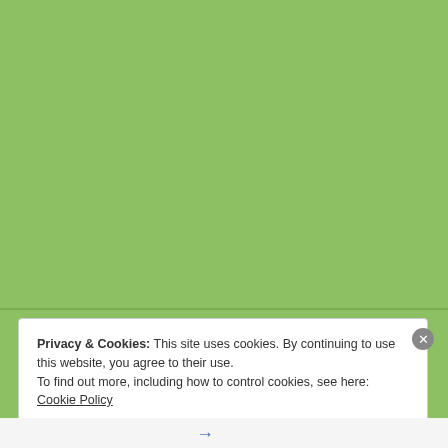[Figure (other): Green background area filling the upper portion of the page]
Privacy & Cookies: This site uses cookies. By continuing to use this website, you agree to their use.
To find out more, including how to control cookies, see here: Cookie Policy
Close and accept